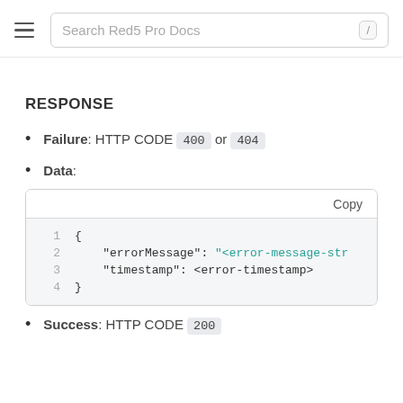Search Red5 Pro Docs
RESPONSE
Failure: HTTP CODE 400 or 404
Data:
[Figure (screenshot): Code block showing JSON error response with fields errorMessage and timestamp]
Success: HTTP CODE 200